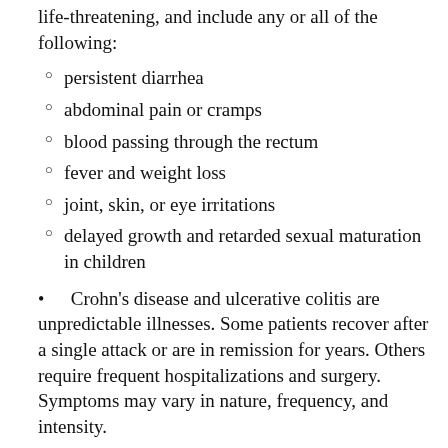life-threatening, and include any or all of the following:
persistent diarrhea
abdominal pain or cramps
blood passing through the rectum
fever and weight loss
joint, skin, or eye irritations
delayed growth and retarded sexual maturation in children
Crohn's disease and ulcerative colitis are unpredictable illnesses. Some patients recover after a single attack or are in remission for years. Others require frequent hospitalizations and surgery. Symptoms may vary in nature, frequency, and intensity.